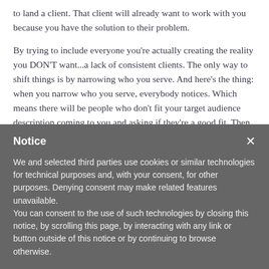to land a client. That client will already want to work with you because you have the solution to their problem.

By trying to include everyone you're actually creating the reality you DON'T want...a lack of consistent clients. The only way to shift things is by narrowing who you serve. And here's the thing: when you narrow who you serve, everybody notices. Which means there will be people who don't fit your target audience description coming to you and asking if they're a good fit. Then you get to decide whether you'll take them on as a client or not.
Notice

We and selected third parties use cookies or similar technologies for technical purposes and, with your consent, for other purposes. Denying consent may make related features unavailable.
You can consent to the use of such technologies by closing this notice, by scrolling this page, by interacting with any link or button outside of this notice or by continuing to browse otherwise.